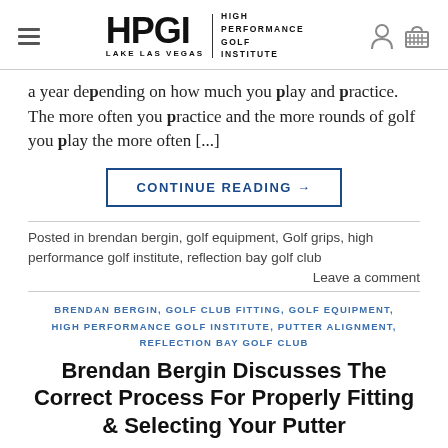HPGI LAKE LAS VEGAS | HIGH PERFORMANCE GOLF INSTITUTE
a year depending on how much you play and practice. The more often you practice and the more rounds of golf you play the more often [...]
CONTINUE READING →
Posted in brendan bergin, golf equipment, Golf grips, high performance golf institute, reflection bay golf club
Leave a comment
BRENDAN BERGIN, GOLF CLUB FITTING, GOLF EQUIPMENT, HIGH PERFORMANCE GOLF INSTITUTE, PUTTER ALIGNMENT, REFLECTION BAY GOLF CLUB
Brendan Bergin Discusses The Correct Process For Properly Fitting & Selecting Your Putter